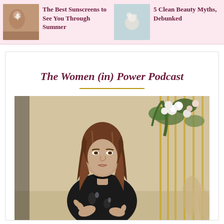[Figure (photo): Thumbnail image of person's back with sunscreen sun design]
The Best Sunscreens to See You Through Summer
[Figure (photo): Thumbnail image of white flower on light blue background]
5 Clean Beauty Myths, Debunked
The Women (in) Power Podcast
[Figure (photo): Woman with long brown wavy hair wearing a dark floral blouse, gesturing with hands, seated in front of floral backdrop with tall gold rods and greenery]